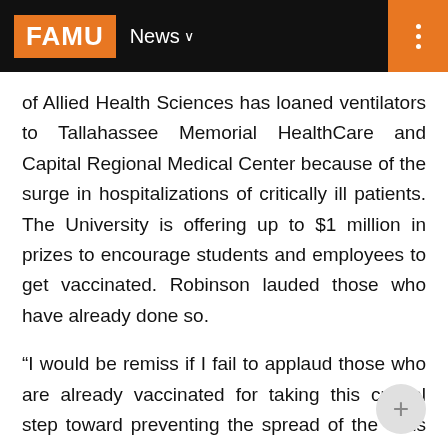FAMU News
of Allied Health Sciences has loaned ventilators to Tallahassee Memorial HealthCare and Capital Regional Medical Center because of the surge in hospitalizations of critically ill patients. The University is offering up to $1 million in prizes to encourage students and employees to get vaccinated. Robinson lauded those who have already done so.
“I would be remiss if I fail to applaud those who are already vaccinated for taking this crucial step toward preventing the spread of the virus and for leading by example,” Robinson said. “I am proud of the way our students, faculty and staff have persevered in the face of this unrelenting